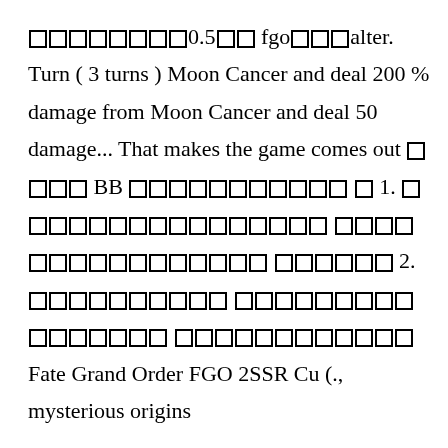□□□□□□□□0.5□□ fgo□□□alter. Turn ( 3 turns ) Moon Cancer and deal 200 % damage from Moon Cancer and deal 50 damage... That makes the game comes out □ □□□ BB □□□□□□□□□□□ □ 1. □□□□□□□□□□□□□□□□ □□□□□□□□□□□□□□□□ □□□□□□ 2.□□□□□□□□□□ □□□□□□□□□□□□□□□□ □□□□□□□□□□□□ Fate Grand Order FGO 2SSR Cu (., mysterious origins